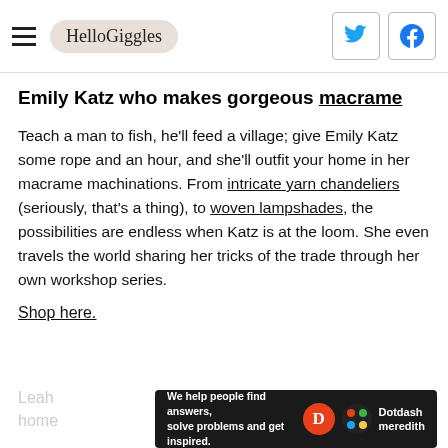HelloGiggles
Emily Katz who makes gorgeous macrame
Teach a man to fish, he'll feed a village; give Emily Katz some rope and an hour, and she'll outfit your home in her macrame machinations. From intricate yarn chandeliers (seriously, that's a thing), to woven lampshades, the possibilities are endless when Katz is at the loom. She even travels the world sharing her tricks of the trade through her own workshop series.
Shop here.
[Figure (other): Dotdash Meredith advertisement bar: 'We help people find answers, solve problems and get inspired.' with Dotdash Meredith logo]